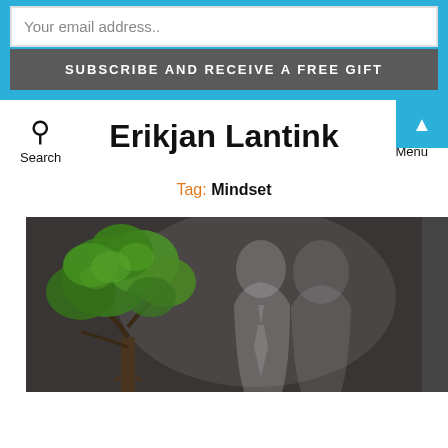Erikjan Lantink
Your email address..
SUBSCRIBE AND RECEIVE A FREE GIFT
Erikjan Lantink
Tag: Mindset
[Figure (photo): A surrealist image showing a green tree on the left side and two ghostly human silhouettes on a dark grey textured background]